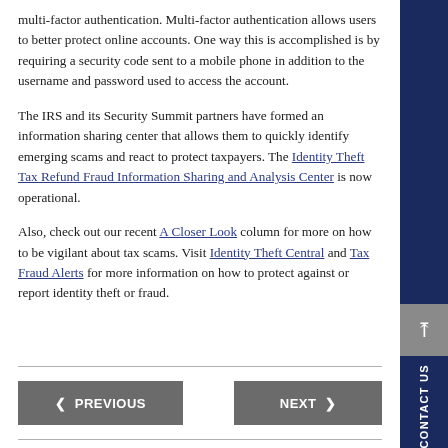multi-factor authentication. Multi-factor authentication allows users to better protect online accounts. One way this is accomplished is by requiring a security code sent to a mobile phone in addition to the username and password used to access the account.
The IRS and its Security Summit partners have formed an information sharing center that allows them to quickly identify emerging scams and react to protect taxpayers. The Identity Theft Tax Refund Fraud Information Sharing and Analysis Center is now operational.
Also, check out our recent A Closer Look column for more on how to be vigilant about tax scams. Visit Identity Theft Central and Tax Fraud Alerts for more information on how to protect against or report identity theft or fraud.